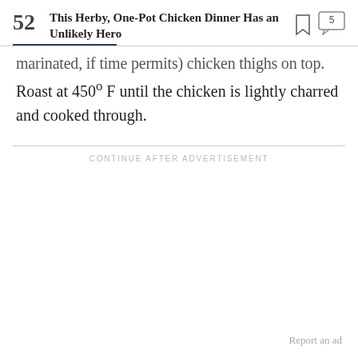52 This Herby, One-Pot Chicken Dinner Has an Unlikely Hero
marinated, if time permits) chicken thighs on top. Roast at 450º F until the chicken is lightly charred and cooked through.
CONTINUE AFTER ADVERTISEMENT
Report an ad